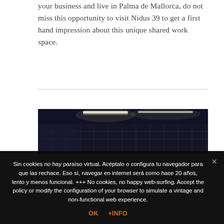your business and live in Palma de Mallorca, do not miss this opportunity to visit Nidus 39 to get a first hand impression about this unique shared work space.
[Figure (photo): Dark interior photo of a workspace or room with fluorescent ceiling lights and grid-like wall panels, predominantly dark blue/black tones.]
Sin cookies no hay paraíso virtual. Acéptalo o configura tu navegador para que las rechace. Eso sí, navegar en internet será como hace 20 años, lento y menos funcional. +++ No cookies, no happy web-surfing. Accept the policy or modify the configuration of your browser to simulate a vintage and non-functional web experience.
OK   +INFO